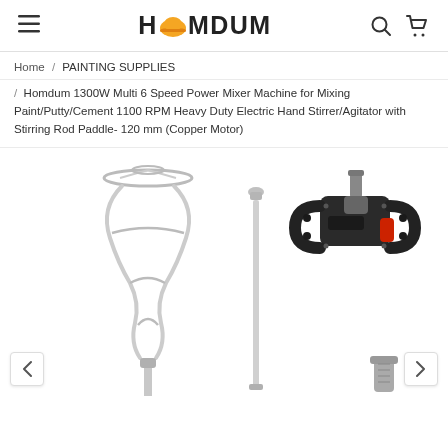HOMDUM [logo with helmet icon] — hamburger menu, search icon, cart icon
Home / PAINTING SUPPLIES
/ Homdum 1300W Multi 6 Speed Power Mixer Machine for Mixing Paint/Putty/Cement 1100 RPM Heavy Duty Electric Hand Stirrer/Agitator with Stirring Rod Paddle- 120 mm (Copper Motor)
[Figure (photo): Product photo showing a paint/cement mixer set: a helical spiral stirring paddle (left), a straight mixing rod (center), a dual-handle electric drill mixer body (right), and a metal coupling at the bottom right. Navigation arrows visible at bottom left and right.]